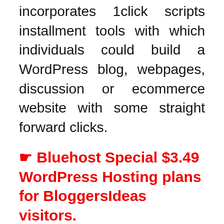incorporates 1click scripts installment tools with which individuals could build a WordPress blog, webpages, discussion or ecommerce website with some straight forward clicks.
☛ Bluehost Special $3.49 WordPress Hosting plans for BloggersIdeas visitors.
To Conclude
Bluehost is unequivocally recommended, because they provides its customers with quick, dependable and competitive hosting solutions. Which of course, is incredible for